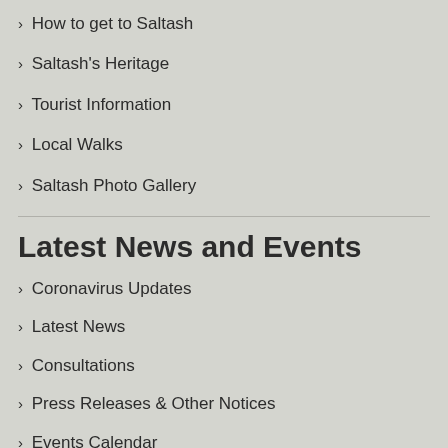› How to get to Saltash
› Saltash's Heritage
› Tourist Information
› Local Walks
› Saltash Photo Gallery
Latest News and Events
› Coronavirus Updates
› Latest News
› Consultations
› Press Releases & Other Notices
› Events Calendar